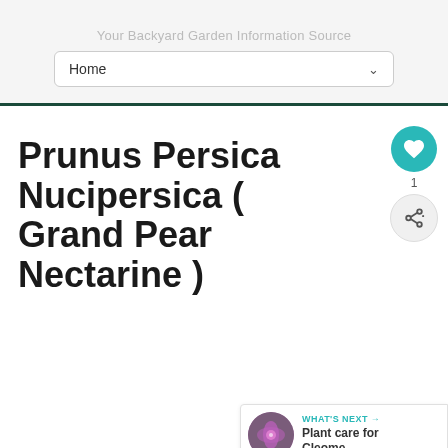Your Backyard Garden Information Source
Home
Prunus Persica Nucipersica ( Grand Pearl Nectarine )
[Figure (illustration): Circular teal heart icon (favorite button) with count 1, and circular share button below it]
[Figure (illustration): What's Next panel with a circular photo of a purple Cleome flower and text: WHAT'S NEXT → Plant care for Cleome...]